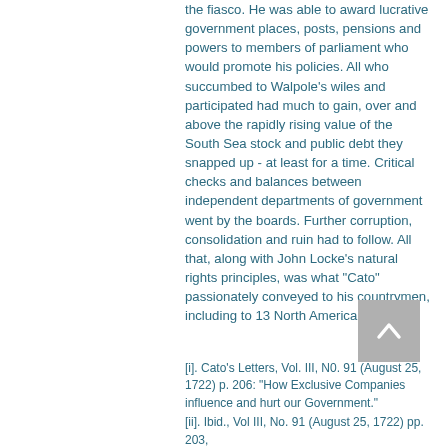the fiasco.  He was able to award lucrative government places, posts, pensions and powers to members of parliament who would promote his policies.   All who succumbed to Walpole's wiles and participated had much to gain, over and above the rapidly rising value of the South Sea stock and public debt they snapped up - at least for a time.  Critical checks and balances between independent departments of government went by the boards.  Further corruption, consolidation and ruin had to follow.  All that, along with John Locke's natural rights principles, was what "Cato" passionately conveyed to his countrymen, including to 13 North American colonies.
[i].  Cato's Letters, Vol. III, N0. 91 (August 25, 1722) p. 206: "How Exclusive Companies influence and hurt our Government."
[ii].  Ibid., Vol III, No. 91 (August 25, 1722) pp. 203,